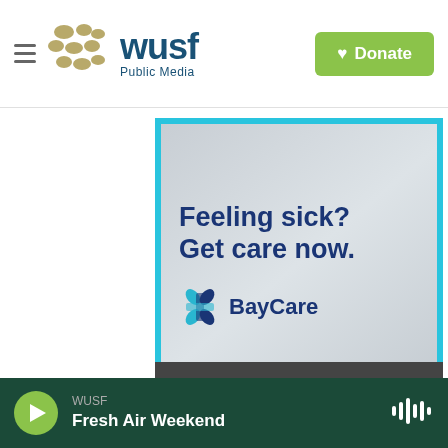WUSF Public Media — Donate
[Figure (illustration): BayCare advertisement with cyan border on light gray textured background. Large bold dark blue text reads 'Feeling sick? Get care now.' followed by the BayCare logo (a blue/teal pinwheel cross symbol) and the word 'BayCare' in dark blue bold text.]
WUSF — Fresh Air Weekend (audio player bar)